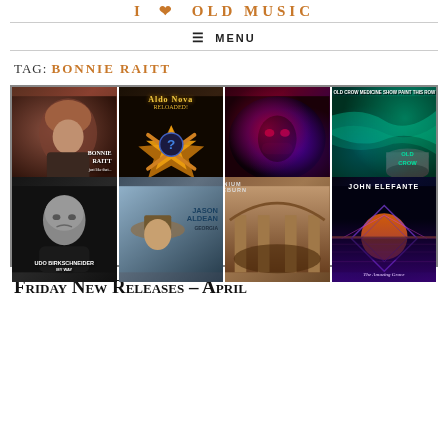I LOVE OLD MUSIC
≡ MENU
TAG: BONNIE RAITT
[Figure (photo): Grid of 8 album covers: Bonnie Raitt, Aldo Nova, a masked artist, Old Crow Medicine Show (Paint This Row), Udo Birkschneider, Jason Aldean, Cranium (Oatheburn), John Elefante (The Amazing Grace)]
FRIDAY NEW RELEASES – APRIL